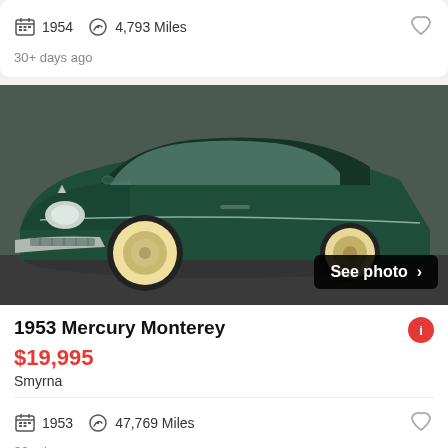1954  4,793 Miles
30+ days ago
[Figure (photo): 1953 Mercury Monterey classic car in dark green with whitewall tires, front 3/4 view, with 'See photo >' overlay button]
1953 Mercury Monterey
$19,995
Smyrna
1953  47,769 Miles
30+ days ago